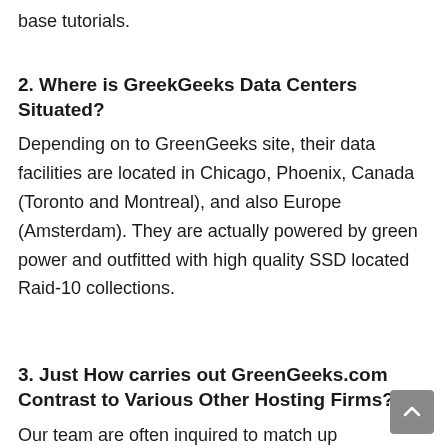base tutorials.
2. Where is GreekGeeks Data Centers Situated?
Depending on to GreenGeeks site, their data facilities are located in Chicago, Phoenix, Canada (Toronto and Montreal), and also Europe (Amsterdam). They are actually powered by green power and outfitted with high quality SSD located Raid-10 collections.
3. Just How carries out GreenGeeks.com Contrast to Various Other Hosting Firms?
Our team are often inquired to match up GreenGeeks with various other hosting services like Dreamhost, GoDaddy...